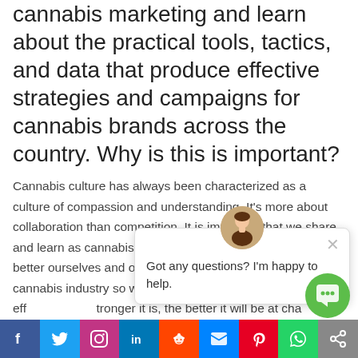cannabis marketing and learn about the practical tools, tactics, and data that produce effective strategies and campaigns for cannabis brands across the country. Why is this is important?
Cannabis culture has always been characterized as a culture of compassion and understanding. It's more about collaboration than competition. It is important that we share and learn as cannabis marketers what is effective not only to better ourselves and our organization but our broader cannabis industry so we can grow stronger and more effective. The stronger it is, the better it will be at changing the perception of cannabis.
What is the future of cannabis marketing? What are your
[Figure (screenshot): Chat widget overlay showing a female avatar, close button (×), and text 'Got any questions? I'm happy to help.' with a green chat button below]